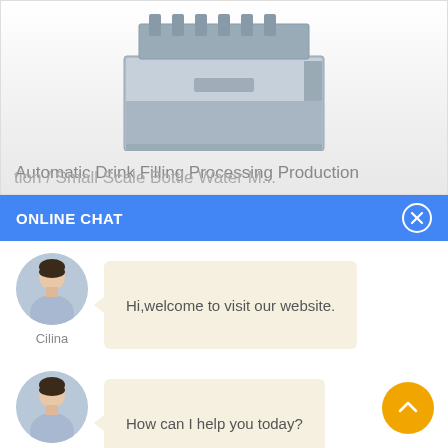[Figure (photo): Industrial automatic drink filling machine, gray/silver metallic cabinet with mechanical components on top, photographed against white background]
Automatic Drink Filling Processing Production
ONLINE CHAT
Hi,welcome to visit our website.
Cilina
How can I help you today?
Cilina